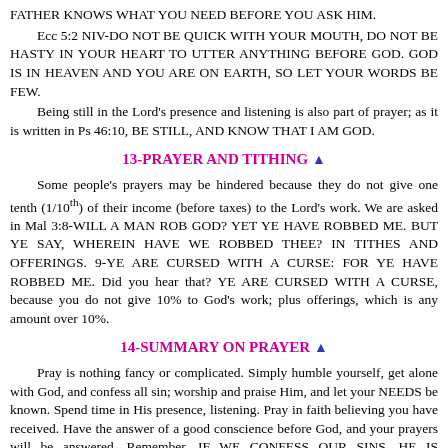FATHER KNOWS WHAT YOU NEED BEFORE YOU ASK HIM.
Ecc 5:2 NIV-DO NOT BE QUICK WITH YOUR MOUTH, DO NOT BE HASTY IN YOUR HEART TO UTTER ANYTHING BEFORE GOD. GOD IS IN HEAVEN AND YOU ARE ON EARTH, SO LET YOUR WORDS BE FEW.
Being still in the Lord's presence and listening is also part of prayer; as it is written in Ps 46:10, BE STILL, AND KNOW THAT I AM GOD.
13-PRAYER AND TITHING
Some people's prayers may be hindered because they do not give one tenth (1/10th) of their income (before taxes) to the Lord's work. We are asked in Mal 3:8-WILL A MAN ROB GOD? YET YE HAVE ROBBED ME. BUT YE SAY, WHEREIN HAVE WE ROBBED THEE? IN TITHES AND OFFERINGS. 9-YE ARE CURSED WITH A CURSE: FOR YE HAVE ROBBED ME. Did you hear that? YE ARE CURSED WITH A CURSE, because you do not give 10% to God's work; plus offerings, which is any amount over 10%.
14-SUMMARY ON PRAYER
Pray is nothing fancy or complicated. Simply humble yourself, get alone with God, and confess all sin; worship and praise Him, and let your NEEDS be known. Spend time in His presence, listening. Pray in faith believing you have received. Have the answer of a good conscience before God, and your prayers will be answered. Remember, IF WE CONFESS OUR SINS, HE IS FAITHFUL AND JUST TO FORGIVE US OUR SINS-1 Jn 1:9. Confess your sins and forsake them.
15-PRAYER: DO NOT GIVE UP